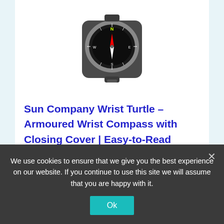[Figure (photo): A Sun Company Wrist Turtle armoured wrist compass with a black protective hinged cover, shown from above, with compass markings visible on the face.]
Sun Company Wrist Turtle – Armoured Wrist Compass with Closing Cover | Easy-to-Read Compass for Watch Band or Paracord Survival Bracelet
PROTECTIVE HINGED COVER - WristTutles hinged cover keeps
We use cookies to ensure that we give you the best experience on our website. If you continue to use this site we will assume that you are happy with it.